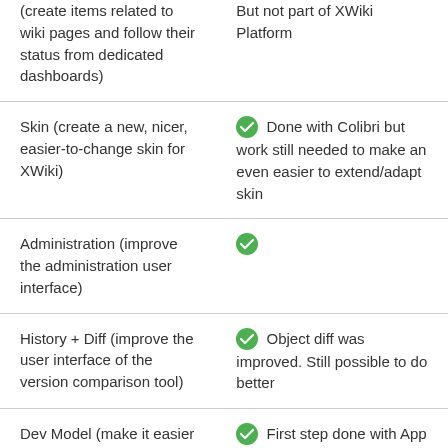| (create items related to wiki pages and follow their status from dedicated dashboards) | But not part of XWiki Platform |
| Skin (create a new, nicer, easier-to-change skin for XWiki) | ✓ Done with Colibri but work still needed to make an even easier to extend/adapt skin |
| Administration (improve the administration user interface) | ✓ |
| History + Diff (improve the user interface of the version comparison tool) | ✓ Object diff was improved. Still possible to do better |
| Dev Model (make it easier to develop | ✓ First step done with App Within Minutes |